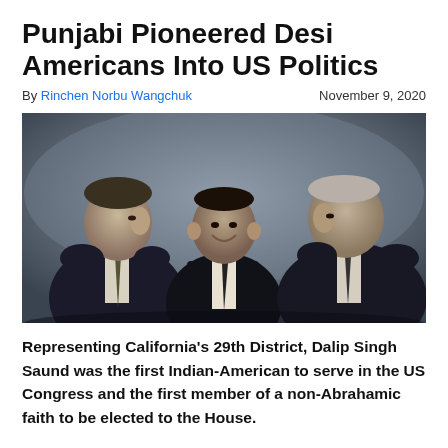Punjabi Pioneered Desi Americans Into US Politics
By Rinchen Norbu Wangchuk    November 9, 2020
[Figure (photo): Black and white photograph of three men in suits appearing to converse. The man on the left has dark hair and is in profile facing right. The man in the center is shorter, smiling broadly. The man on the right is taller, facing left. The image has a vintage mid-20th century quality.]
Representing California's 29th District, Dalip Singh Saund was the first Indian-American to serve in the US Congress and the first member of a non-Abrahamic faith to be elected to the House.